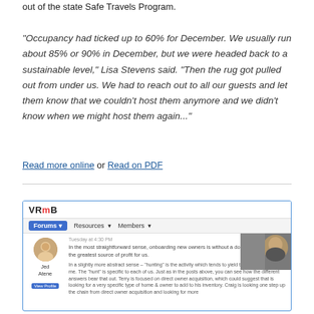out of the state Safe Travels Program.
"Occupancy had ticked up to 60% for December. We usually run about 85% or 90% in December, but we were headed back to a sustainable level," Lisa Stevens said. “Then the rug got pulled out from under us. We had to reach out to all our guests and let them know that we couldn't host them anymore and we didn't know when we might host them again...”
Read more online or Read on PDF
[Figure (screenshot): Screenshot of VRMB forum page showing navigation bar with Forums, Resources, Members links, a user post by Jed Atene with avatar and text about onboarding new owners and hunting for profit, and a video thumbnail showing a man's face on the right side.]